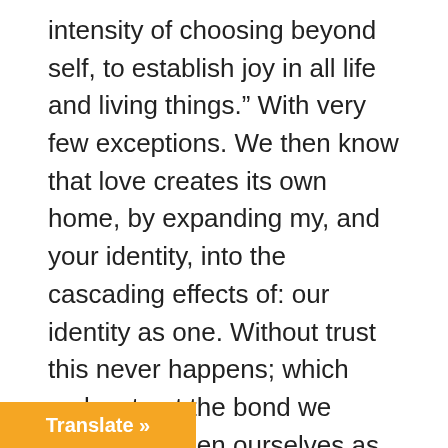intensity of choosing beyond self, to establish joy in all life and living things.” With very few exceptions. We then know that love creates its own home, by expanding my, and your identity, into the cascading effects of: our identity as one. Without trust this never happens; which makes trust the bond we create between ourselves as a value which must never be broken to sustain this home; identified as love.

In the elements of this human existence: want is the single movement to be found in the vast majority. It is not love, nor its constant companion … It is that want, which then forcibly